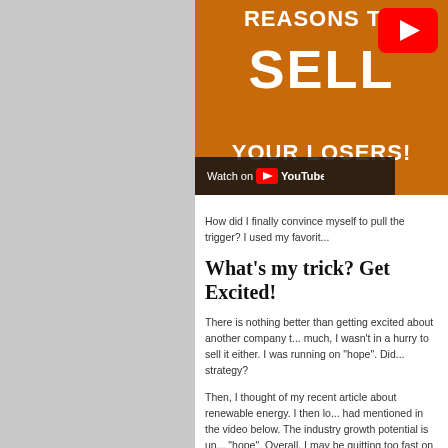[Figure (screenshot): YouTube video thumbnail showing text 'REASONS TO SELL YOUR LOSERS!' on an orange background with a YouTube play button overlay and 'Watch on YouTube' bar at the bottom.]
How did I finally convince myself to pull the trigger? I used my favorit...
What’s my trick? Get Excited!
There is nothing better than getting excited about another company t... much, I wasn’t in a hurry to sell it either. I was running on “hope”. Did... strategy?
Then, I thought of my recent article about renewable energy. I then lo... had mentioned in the video below. The industry growth potential is un... “hope”. Overall, I may be quitting too fast on Hasbro, but I’m confider... going forward.